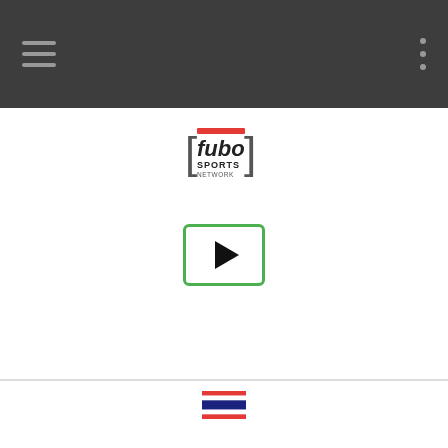Navigation bar with hamburger menu and dots menu
[Figure (logo): fubo Sports Network logo]
[Figure (other): Green-bordered play button]
[Figure (other): Thailand flag icon]
PORT FC VS PRACHUAP
[Figure (other): LIVE badge with red dot and fubo Sports Network logo]
[Figure (other): Green-bordered play button]
[Figure (other): Thailand flag icon]
UTHAI THANI VS CHIANGMAI FC
[Figure (other): LIVE badge with red dot]